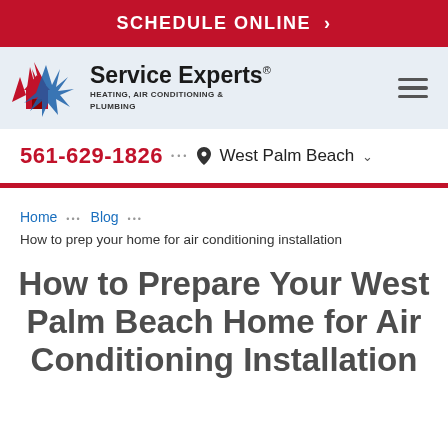SCHEDULE ONLINE >
[Figure (logo): Service Experts Heating, Air Conditioning & Plumbing logo with red and blue flame/snowflake house icon]
561-629-1826 ••• West Palm Beach
Home ••• Blog ••• How to prep your home for air conditioning installation
How to Prepare Your West Palm Beach Home for Air Conditioning Installation